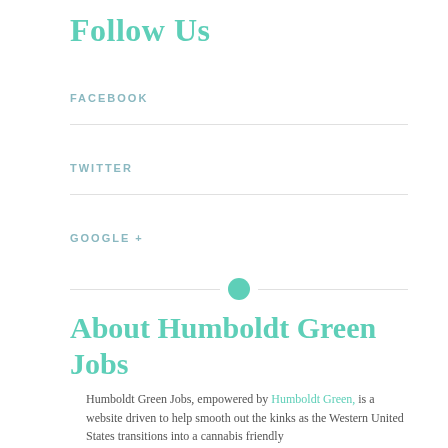Follow Us
FACEBOOK
TWITTER
GOOGLE +
About Humboldt Green Jobs
Humboldt Green Jobs, empowered by Humboldt Green, is a website driven to help smooth out the kinks as the Western United States transitions into a cannabis friendly